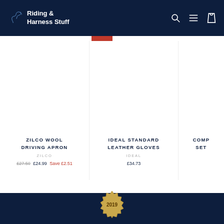Riding & Harness Stuff — navigation bar with logo, search, menu, and cart icons
[Figure (screenshot): Product listing: Zilco Wool Driving Apron by Zilco, original price £27.50, sale price £24.99, save £2.51]
ZILCO WOOL DRIVING APRON
ZILCO
£27.50 £24.99 Save £2.51
[Figure (screenshot): Product listing: Ideal Standard Leather Gloves by Ideal, price £34.73]
IDEAL STANDARD LEATHER GLOVES
IDEAL
£34.73
[Figure (screenshot): Partially visible product card (third product, title partially cut off as COMP... SET...)]
2019 badge/seal in footer area